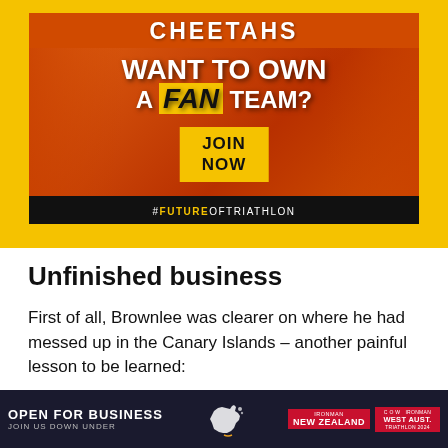[Figure (illustration): Advertisement banner for Cheetahs triathlon team fan ownership. Yellow background with orange-clad athletes. Text reads 'CHEETAHS WANT TO OWN A FAN TEAM? JOIN NOW #FUTUREOFTRIATHLON']
Unfinished business
First of all, Brownlee was clearer on where he had messed up in the Canary Islands – another painful lesson to be learned:
“Yeah, I was really disappointed after Gran Canaria, I was training really well for that, I’d done a far better job of
[Figure (illustration): Bottom advertisement banner. Dark background with 'OPEN FOR BUSINESS JOIN US DOWN UNDER' text and IRONMAN New Zealand / IRONMAN Australia logos with Australia/New Zealand map shape.]